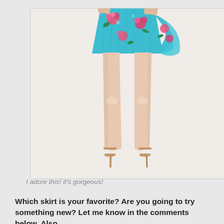[Figure (photo): A model wearing a teal/turquoise floral mini skirt with pink roses and a ruffle detail on the side, paired with nude strappy heeled sandals. Only the lower half of the body is visible, from waist down.]
I adore this! it's gorgeous!
Which skirt is your favorite? Are you going to try something new? Let me know in the comments below. Also